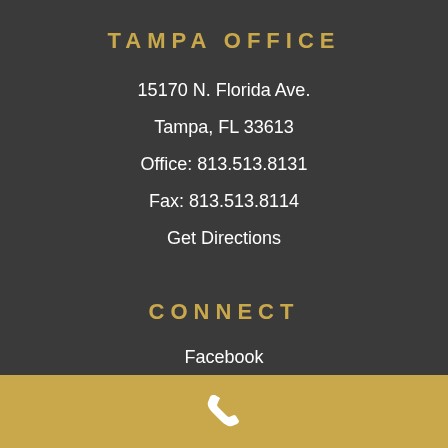TAMPA OFFICE
15170 N. Florida Ave.
Tampa, FL 33613
Office: 813.513.8131
Fax: 813.513.8114
Get Directions
CONNECT
Facebook
Twitter
Youtube
[Figure (illustration): Phone handset icon in white on gold background footer bar]